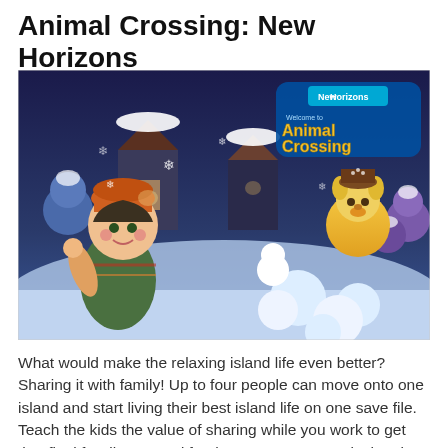Animal Crossing: New Horizons
[Figure (screenshot): Animal Crossing: New Horizons game screenshot showing cartoon characters in a snowy winter island scene with the game logo visible in the upper right corner]
What would make the relaxing island life even better? Sharing it with family! Up to four people can move onto one island and start living their best island life on one save file. Teach the kids the value of sharing while you work to get that final fossil you need for the museum. Not only that, but you can go online easier than ever.